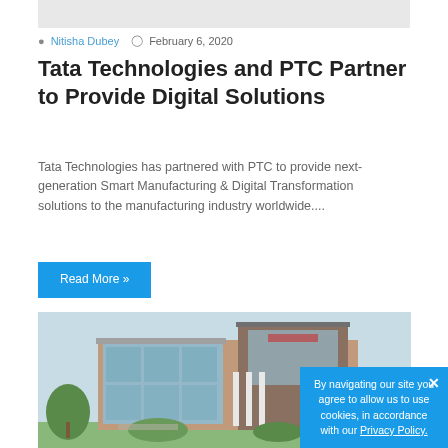[Figure (photo): Gray banner image at top of page (partially visible)]
Nitisha Dubey  February 6, 2020
Tata Technologies and PTC Partner to Provide Digital Solutions
Tata Technologies has partnered with PTC to provide next-generation Smart Manufacturing & Digital Transformation solutions to the manufacturing industry worldwide....
Read More »
[Figure (photo): Photograph of a modern multi-story commercial/industrial building with glass facade, white columns, and surrounding greenery]
By navigating our site you agree to allow us to use cookies, in accordance with our Privacy Policy.